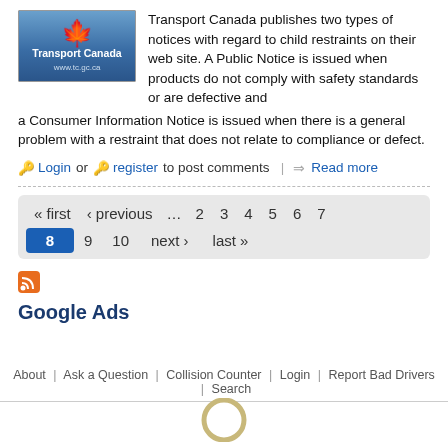[Figure (logo): Transport Canada logo with maple leaf and blue background, www.tc.gc.ca]
Transport Canada publishes two types of notices with regard to child restraints on their web site. A Public Notice is issued when products do not comply with safety standards or are defective and a Consumer Information Notice is issued when there is a general problem with a restraint that does not relate to compliance or defect.
🔑 Login or 🔑 register to post comments | ⇒ Read more
« first ‹ previous … 2 3 4 5 6 7 8 9 10 next › last »
[Figure (logo): RSS feed icon]
Google Ads
About | Ask a Question | Collision Counter | Login | Report Bad Drivers | Search